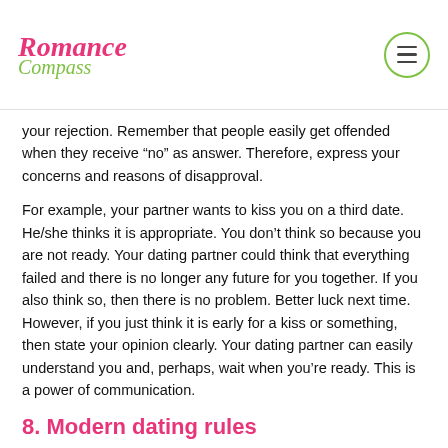Romance Compass
your rejection. Remember that people easily get offended when they receive “no” as answer. Therefore, express your concerns and reasons of disapproval.
For example, your partner wants to kiss you on a third date. He/she thinks it is appropriate. You don’t think so because you are not ready. Your dating partner could think that everything failed and there is no longer any future for you together. If you also think so, then there is no problem. Better luck next time. However, if you just think it is early for a kiss or something, then state your opinion clearly. Your dating partner can easily understand you and, perhaps, wait when you’re ready. This is a power of communication.
8. Modern dating rules
Dating rules suggest you to be attentive while choosing your dating partner. Believe it or not but 50% of your success depends on preparation. Choosing a partner that can possibly fit you is a part of preparation.